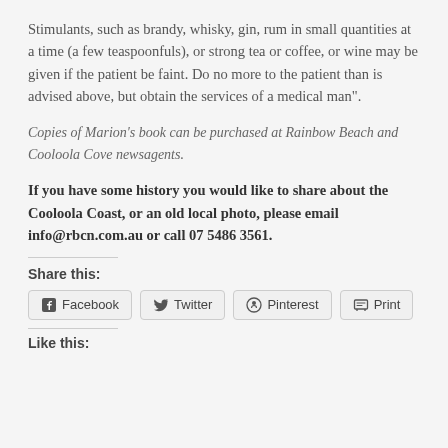Stimulants, such as brandy, whisky, gin, rum in small quantities at a time (a few teaspoonfuls), or strong tea or coffee, or wine may be given if the patient be faint. Do no more to the patient than is advised above, but obtain the services of a medical man”.
Copies of Marion’s book can be purchased at Rainbow Beach and Cooloola Cove newsagents.
If you have some history you would like to share about the Cooloola Coast, or an old local photo, please email info@rbcn.com.au or call 07 5486 3561.
Share this:
Facebook  Twitter  Pinterest  Print
Like this: